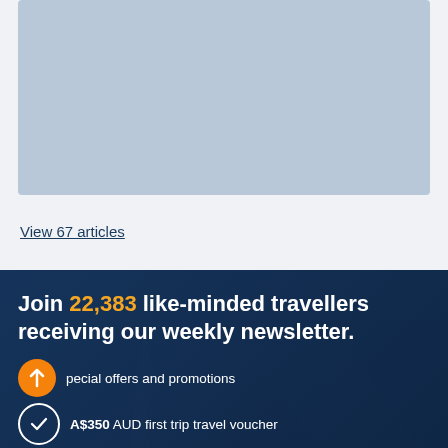[Figure (photo): Light blue/grey placeholder image block at top of page]
View 67 articles
[Figure (photo): Dark blue banner with travel/city background image overlay showing Eiffel Tower and mountains]
Join 22,383 like-minded travellers receiving our weekly newsletter.
Special offers and promotions
A$350 AUD first trip travel voucher